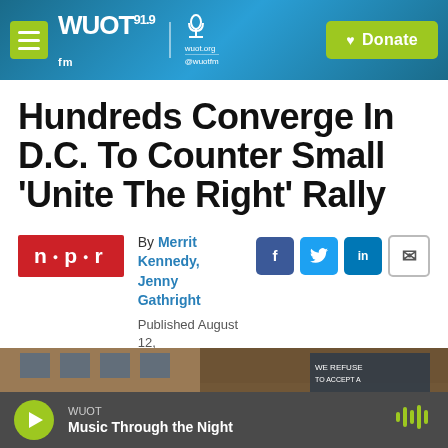WUOT 91.9 FM — wuot.org @wuotfm | Donate
Hundreds Converge In D.C. To Counter Small 'Unite The Right' Rally
By Merrit Kennedy, Jenny Gathright
Published August 12, 2018 at 12:44 PM EDT
[Figure (photo): Building exterior photo, partially visible at bottom of article]
WUOT — Music Through the Night